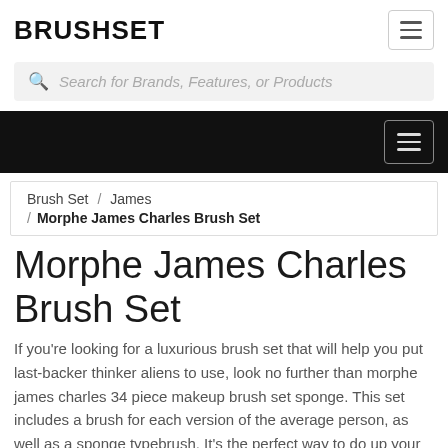BRUSHSET
Search for Brands, Features, or Products
Morphe James Charles Brush Set
Brush Set / James / Morphe James Charles Brush Set
Morphe James Charles Brush Set
If you're looking for a luxurious brush set that will help you put last-backer thinker aliens to use, look no further than morphe james charles 34 piece makeup brush set sponge. This set includes a brush for each version of the average person, as well as a sponge typebrush. It's the perfect way to do up your look without having to worry about wasting any